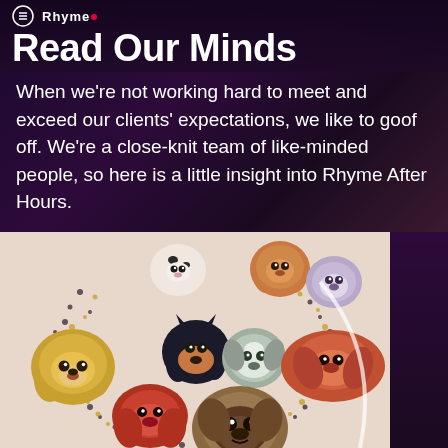Rhyme Read Our Minds
When we're not working hard to meet and exceed our clients' expectations, we like to goof off. We're a close-knit team of like-minded people, so here is a little insight into Rhyme After Hours.
[Figure (illustration): Illustration of multiple cartoon dog faces arranged in a heart shape on a beige/cream background with decorative dots. Dogs include a dalmatian, doberman, golden retriever, grey/white dog, dachshund, pug, and others.]